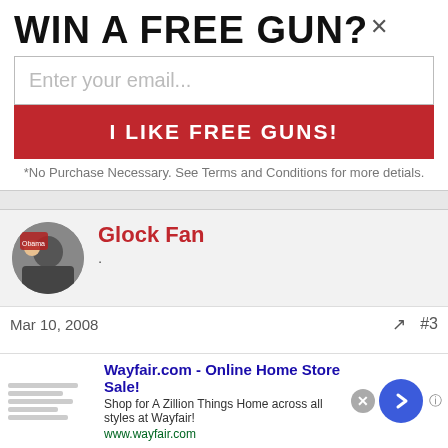WIN A FREE GUN?
Enter your email...
I LIKE FREE GUNS!
*No Purchase Necessary. See Terms and Conditions for more detials.
Glock Fan
Mar 10, 2008    #3
Do folks realize that if "Billary" or "O'Brhama" gets elected and something happened to them and the Vice President, then we'd
Wayfair.com - Online Home Store Sale!
Shop for A Zillion Things Home across all styles at Wayfair!
www.wayfair.com